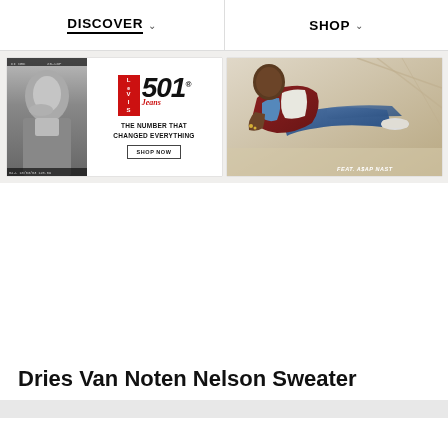DISCOVER  SHOP
[Figure (photo): Levi's 501 Jeans advertisement with black and white photo on left and logo with tagline 'THE NUMBER THAT CHANGED EVERYTHING' and SHOP NOW button]
[Figure (photo): Levi's advertisement featuring A$AP Nast wearing jeans, lounging on a surface. Text reads: FEAT. A$AP NAST]
Dries Van Noten Nelson Sweater